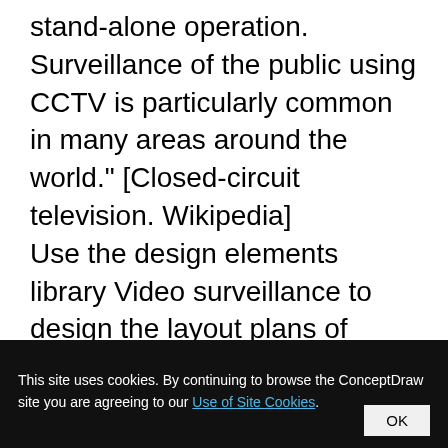stand-alone operation. Surveillance of the public using CCTV is particularly common in many areas around the world." [Closed-circuit television. Wikipedia] Use the design elements library Video surveillance to design the layout plans of security and access systems, and internal and external video surveillance and security control monitoring systems using the ConceptDraw PRO diagramming and vector drawing software.
This site uses cookies. By continuing to browse the ConceptDraw site you are agreeing to our Use of Site Cookies.